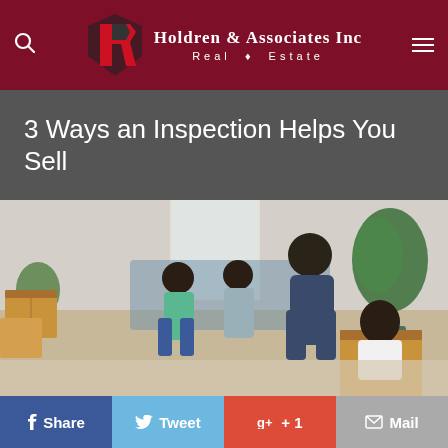Holdren & Associates Inc Real Estate
3 Ways an Inspection Helps You Sell
[Figure (photo): A family in a living room with moving boxes; a father pushes a young girl sitting in a cardboard box while a boy runs and a woman sits on a couch in the background with a large plant nearby.]
f Share  Tweet  g+ +1  Mail